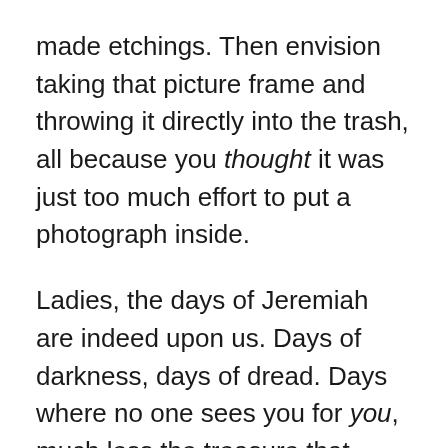made etchings. Then envision taking that picture frame and throwing it directly into the trash, all because you thought it was just too much effort to put a photograph inside.
Ladies, the days of Jeremiah are indeed upon us. Days of darkness, days of dread. Days where no one sees you for you, much less the treasure that resides within you.
But we also have a choice. A choice too choose joy. A choice to choose God's gifts